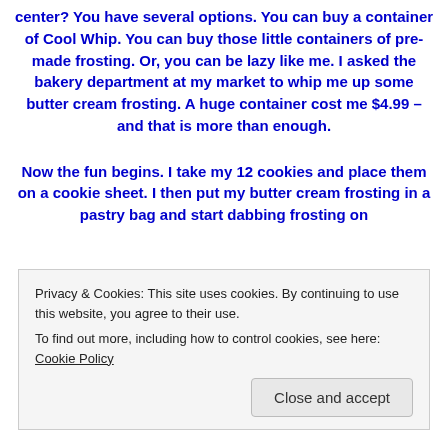center?  You have several options.  You can buy a container of Cool Whip.  You can buy those little containers of pre-made frosting.  Or, you can be lazy like me.  I asked the bakery department at my market to whip me up some butter cream frosting.  A huge container cost me $4.99 – and that is more than enough.
Now the fun begins.  I take my 12 cookies and place them on a cookie sheet.  I then put my butter cream frosting in a pastry bag and start dabbing frosting on
Privacy & Cookies: This site uses cookies. By continuing to use this website, you agree to their use.
To find out more, including how to control cookies, see here: Cookie Policy